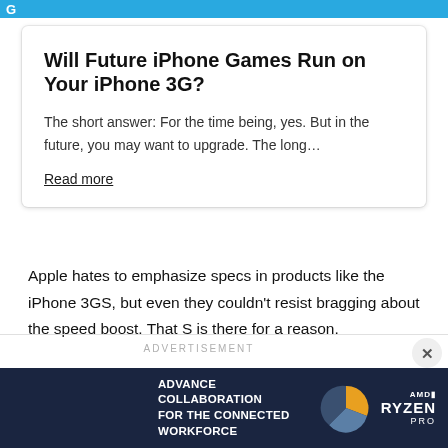G
Will Future iPhone Games Run on Your iPhone 3G?
The short answer: For the time being, yes. But in the future, you may want to upgrade. The long…
Read more
Apple hates to emphasize specs in products like the iPhone 3GS, but even they couldn't resist bragging about the speed boost. That S is there for a reason.
ADVERTISEMENT
[Figure (photo): AMD Ryzen Pro advertisement banner showing laptop and collaboration imagery with text: ADVANCE COLLABORATION FOR THE CONNECTED WORKFORCE]